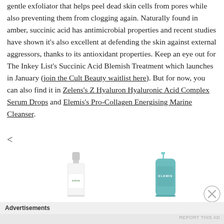gentle exfoliator that helps peel dead skin cells from pores while also preventing them from clogging again. Naturally found in amber, succinic acid has antimicrobial properties and recent studies have shown it's also excellent at defending the skin against external aggressors, thanks to its antioxidant properties. Keep an eye out for The Inkey List's Succinic Acid Blemish Treatment which launches in January (join the Cult Beauty waitlist here). But for now, you can also find it in Zelens's Z Hyaluron Hyaluronic Acid Complex Serum Drops and Elemis's Pro-Collagen Energising Marine Cleanser.
[Figure (photo): Two skincare product images side by side: a Zelens serum bottle on the left and an Elemis teal pump bottle on the right]
Advertisements